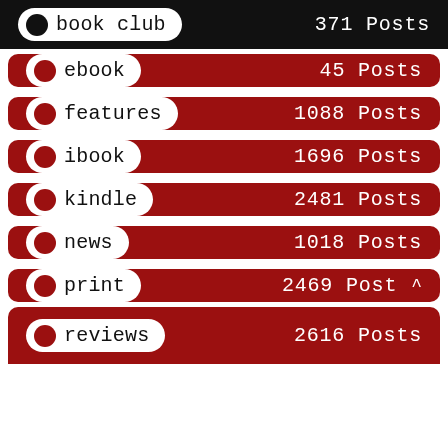book club  371 Posts
ebook  45 Posts
features  1088 Posts
ibook  1696 Posts
kindle  2481 Posts
news  1018 Posts
print  2469 Post
reviews  2616 Posts